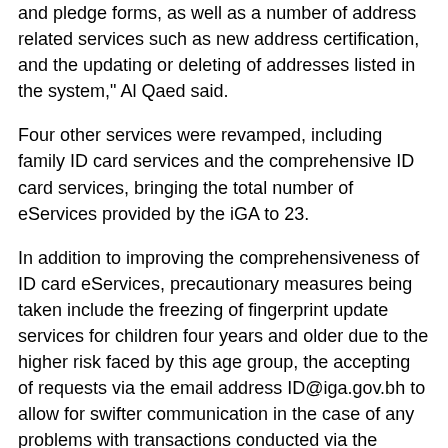and pledge forms, as well as a number of address related services such as new address certification, and the updating or deleting of addresses listed in the system," Al Qaed said.
Four other services were revamped, including family ID card services and the comprehensive ID card services, bringing the total number of eServices provided by the iGA to 23.
In addition to improving the comprehensiveness of ID card eServices, precautionary measures being taken include the freezing of fingerprint update services for children four years and older due to the higher risk faced by this age group, the accepting of requests via the email address ID@iga.gov.bh to allow for swifter communication in the case of any problems with transactions conducted via the National Portal, a reduction in the working hours of service centers, and disinfections of all premises, including offices and waiting areas, every hour and a half.
These precautions have contributed to reducing the number of physical visits by beneficiaries, supporting